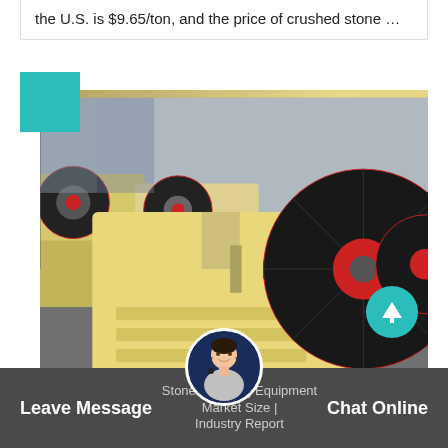the U.S. is $9.65/ton, and the price of crushed stone …
[Figure (photo): Industrial jaw crusher machines with large black and red flywheels on cream-colored frames, displayed in a factory/warehouse setting. Multiple units visible in a row.]
Stone Crushing Equipment Market Size | Industry Report
Leave Message
Chat Online